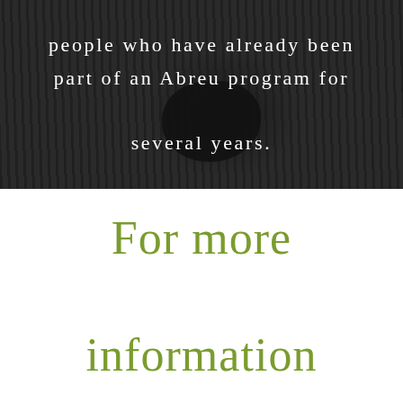[Figure (photo): Dark grayscale background photo showing what appears to be a vinyl record or dark circular object on a wooden surface, with white text overlay]
people who have already been part of an Abreu program for several years.
For more information